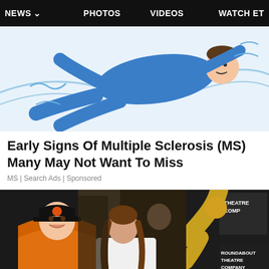NEWS ∨  PHOTOS  VIDEOS  WATCH ET
[Figure (illustration): Animated/illustrated figure of a person in a blue outfit lying down with blue and white wavy lines, serving as an advertisement banner image for Multiple Sclerosis search ads.]
Early Signs Of Multiple Sclerosis (MS) Many May Not Want To Miss
MS | Search Ads | Sponsored
[Figure (photo): Photo of Justin Bieber wearing an orange hoodie and black SF Giants cap, smiling, alongside a woman in a white sleeveless top with long brown hair, photographed at night outside a venue.]
[Figure (photo): Partial photo showing Roundabout Theatre Company signage and a partial figure in gold/yellow, cropped on the right side.]